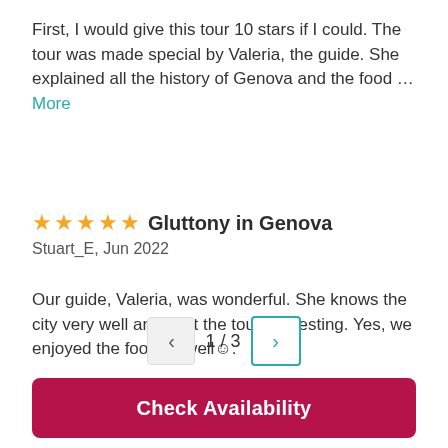First, I would give this tour 10 stars if I could. The tour was made special by Valeria, the guide. She explained all the history of Genova and the food … More
Gluttony in Genova
Stuart_E, Jun 2022
Our guide, Valeria, was wonderful. She knows the city very well and kept the tour interesting. Yes, we enjoyed the food as well☺.
1 / 3
Check Availability